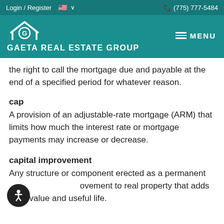Login / Register  🇺🇸 ∨   (775) 777-5484
[Figure (logo): Gaeta Real Estate Group logo: house icon with letter G, white on teal background]
the right to call the mortgage due and payable at the end of a specified period for whatever reason.
cap
A provision of an adjustable-rate mortgage (ARM) that limits how much the interest rate or mortgage payments may increase or decrease.
capital improvement
Any structure or component erected as a permanent improvement to real property that adds to its value and useful life.